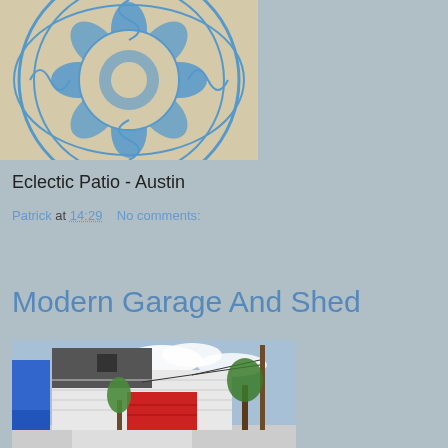[Figure (photo): Blue decorative geometric patterned rug/tile on a light beige background, viewed from above]
Eclectic Patio - Austin
Patrick at 14:29    No comments:
Share
Modern Garage And Shed
[Figure (photo): Modern garage and shed building with white horizontal siding, dark grey upper section, red garage door, blue accent panels, trees and power lines visible, cloudy sky]